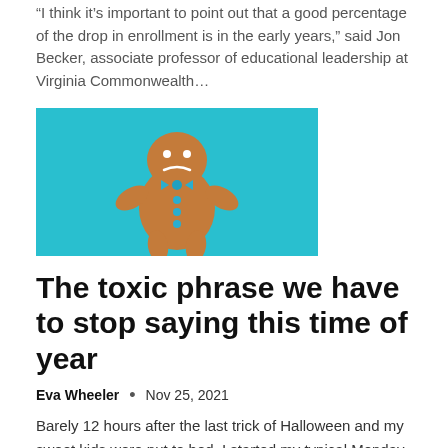“I think it’s important to point out that a good percentage of the drop in enrollment is in the early years,” said Jon Becker, associate professor of educational leadership at Virginia Commonwealth...
[Figure (photo): A gingerbread man cookie with a sad face and blue bow tie, on a teal/cyan background]
The toxic phrase we have to stop saying this time of year
Eva Wheeler • Nov 25, 2021
Barely 12 hours after the last trick of Halloween and my sweet kids were put to bed, I started my typical Monday morning fitness class. But mid-board, the instructor's commentary caught me off guard